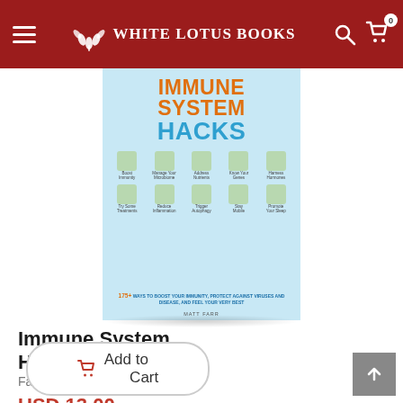White Lotus Books
[Figure (photo): Book cover of 'Immune System Hacks' by Matt Farr. Light blue cover with orange title text 'IMMUNE SYSTEM' and blue 'HACKS', featuring icons of health-related items and the subtitle '175+ ways to boost your immunity, protect against viruses and disease, and feel your very best']
Immune System Hacks
Farr Matt
USD 13.00
Add to Cart